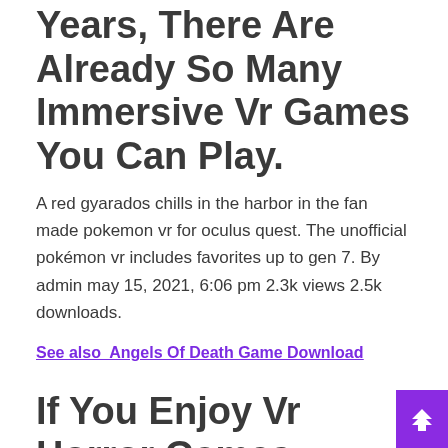Years, There Are Already So Many Immersive Vr Games You Can Play.
A red gyarados chills in the harbor in the fan made pokemon vr for oculus quest. The unofficial pokémon vr includes favorites up to gen 7. By admin may 15, 2021, 6:06 pm 2.3k views 2.5k downloads.
See also  Angels Of Death Game Download
If You Enjoy Vr Horror Games, We've Compiled